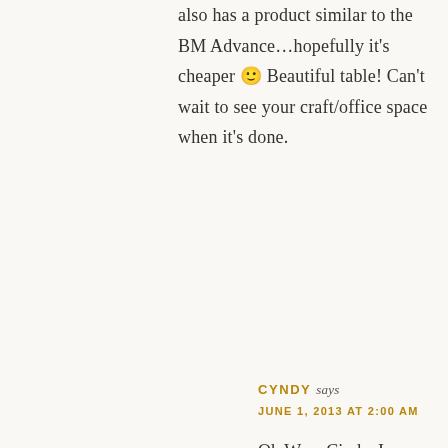also has a product similar to the BM Advance…hopefully it's cheaper 🙂 Beautiful table! Can't wait to see your craft/office space when it's done.
Reply
CYNDY says
JUNE 1, 2013 AT 2:00 AM
Oh Wow Cindy, I haven't heard about that paint. I will for sure check it out and its great to know you still get the smooth leveling. Is it less tacky to work with as well? Thank you so much for telling me